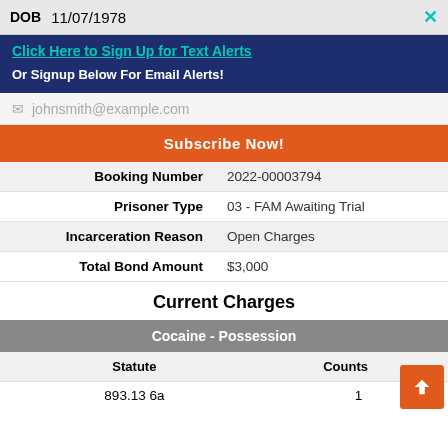| DOB |  |
| --- | --- |
| DOB | 11/07/1978 |
Click Here to Sign Up for Text Alerts
Or Signup Below For Email Alerts!
johnsmith@example.com
Subscribe Now!
|  |  |
| --- | --- |
| Booking Number | 2022-00003794 |
| Prisoner Type | 03 - FAM Awaiting Trial |
| Incarceration Reason | Open Charges |
| Total Bond Amount | $3,000 |
Current Charges
| Cocaine - Possession |  |
| --- | --- |
| Statute | Counts |
| 893.13 6a | 1 |